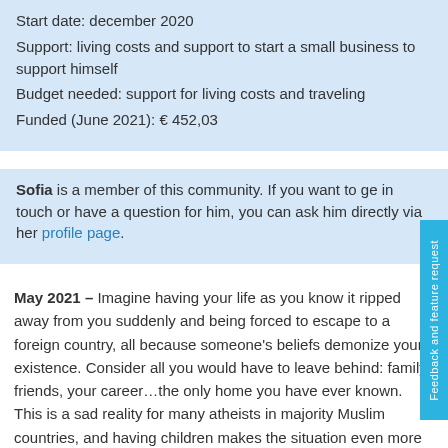Start date: december 2020
Support: living costs and support to start a small business to support himself
Budget needed: support for living costs and traveling
Funded (June 2021): € 452,03
Sofia is a member of this community. If you want to get in touch or have a question for him, you can ask him directly via her profile page.
May 2021 – Imagine having your life as you know it ripped away from you suddenly and being forced to escape to a foreign country, all because someone's beliefs demonize your existence. Consider all you would have to leave behind: family, friends, your career…the only home you have ever known. This is a sad reality for many atheists in majority Muslim countries, and having children makes the situation even more difficult and dire